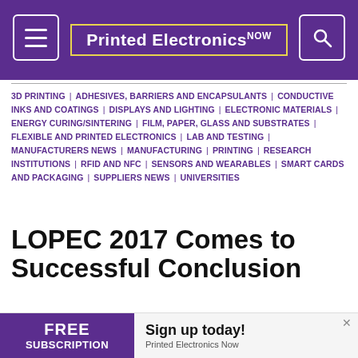Printed Electronics NOW
3D PRINTING | ADHESIVES, BARRIERS AND ENCAPSULANTS | CONDUCTIVE INKS AND COATINGS | DISPLAYS AND LIGHTING | ELECTRONIC MATERIALS | ENERGY CURING/SINTERING | FILM, PAPER, GLASS AND SUBSTRATES | FLEXIBLE AND PRINTED ELECTRONICS | LAB AND TESTING | MANUFACTURERS NEWS | MANUFACTURING | PRINTING | RESEARCH INSTITUTIONS | RFID AND NFC | SENSORS AND WEARABLES | SMART CARDS AND PACKAGING | SUPPLIERS NEWS | UNIVERSITIES
LOPEC 2017 Comes to Successful Conclusion
OE-A reports major growth in attendance, exhibitors
[Figure (infographic): Advertisement banner: FREE SUBSCRIPTION - Sign up today! Printed Electronics Now]